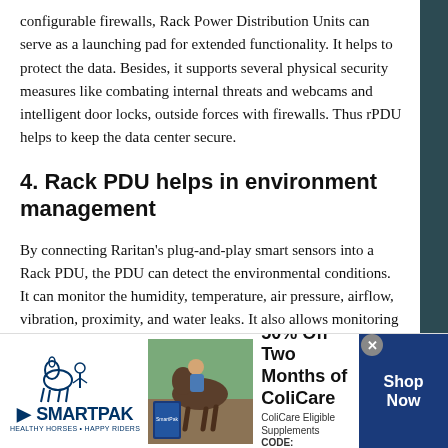configurable firewalls, Rack Power Distribution Units can serve as a launching pad for extended functionality. It helps to protect the data. Besides, it supports several physical security measures like combating internal threats and webcams and intelligent door locks, outside forces with firewalls. Thus rPDU helps to keep the data center secure.
4. Rack PDU helps in environment management
By connecting Raritan's plug-and-play smart sensors into a Rack PDU, the PDU can detect the environmental conditions. It can monitor the humidity, temperature, air pressure, airflow, vibration, proximity, and water leaks. It also allows monitoring the environment around the critical
[Figure (photo): SmartPak advertisement banner showing a horse and rider, with '50% Off Two Months of ColiCare' offer, ColiCare Eligible Supplements, CODE: COLICARE10, and a 'Shop Now' button.]